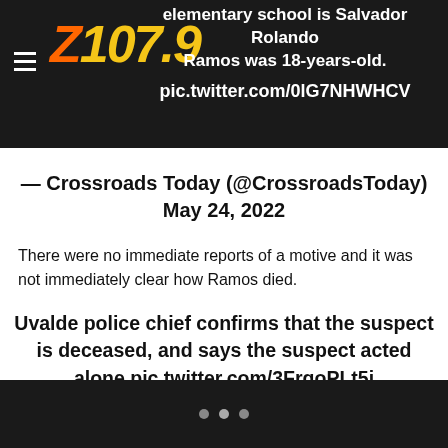elementary school is Salvador Rolando Ramos was 18-years-old. pic.twitter.com/0lG7NHWHCV
— Crossroads Today (@CrossroadsToday) May 24, 2022
There were no immediate reports of a motive and it was not immediately clear how Ramos died.
Uvalde police chief confirms that the suspect is deceased, and says the suspect acted alone pic.twitter.com/3FrqoPLt5i
• • •